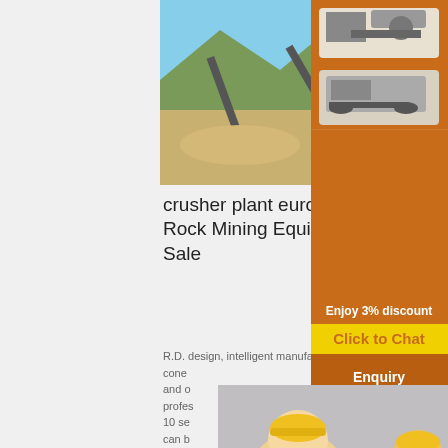[Figure (photo): Outdoor mining/crusher plant site with conveyor belts, mountains and blue sky in background]
crusher plant europe rock - Rock Mining Equipment For Sale
R.D. design, intelligent manufacturing, sa... cone ... and o... profes... 10 se... can b... on yielding and types of building ...
Read More
[Figure (photo): Red mobile crusher/screening machine on gravel pile]
[Figure (photo): Live Chat popup overlay with people in hard hats, LIVE CHAT heading, Chat now and Chat later buttons]
[Figure (photo): Right sidebar with orange background showing mining equipment images, Enjoy 3% discount / Click to Chat banner, Enquiry section, and limingjlmofen@sina.com email]